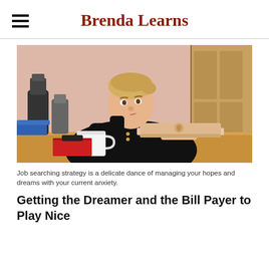Brenda Learns
[Figure (photo): A young blonde woman in a black blazer sitting at a wooden desk, resting her chin on her hand thoughtfully, with a rose gold MacBook laptop open in front of her and a white mug nearby. Coffee equipment visible in the background.]
Job searching strategy is a delicate dance of managing your hopes and dreams with your current anxiety.
Getting the Dreamer and the Bill Payer to Play Nice